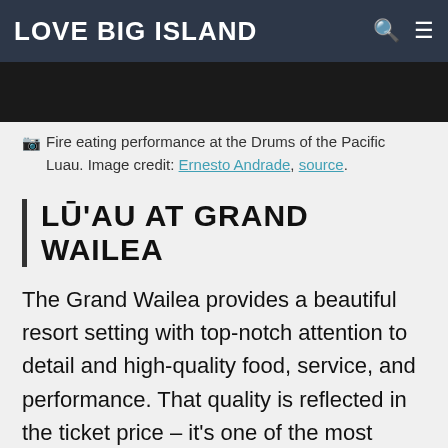LOVE BIG ISLAND
[Figure (photo): Dark image strip showing a fire eating performance at the Drums of the Pacific Luau]
📷 Fire eating performance at the Drums of the Pacific Luau. Image credit: Ernesto Andrade, source.
LŪ'AU AT GRAND WAILEA
The Grand Wailea provides a beautiful resort setting with top-notch attention to detail and high-quality food, service, and performance. That quality is reflected in the ticket price – it's one of the most expensive lū'aus on the island – making it a high-end option, great for celebrations like anniversaries and honeymoons. The stage is just steps from Wailea Beach, and